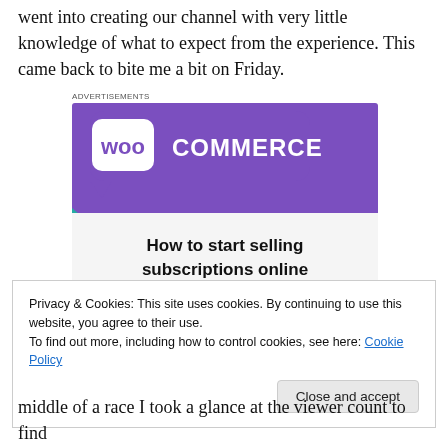went into creating our channel with very little knowledge of what to expect from the experience. This came back to bite me a bit on Friday.
[Figure (screenshot): WooCommerce advertisement banner with purple background showing WooCommerce logo and text 'How to start selling subscriptions online' with teal and blue decorative shapes]
Privacy & Cookies: This site uses cookies. By continuing to use this website, you agree to their use.
To find out more, including how to control cookies, see here: Cookie Policy
Close and accept
middle of a race I took a glance at the viewer count to find